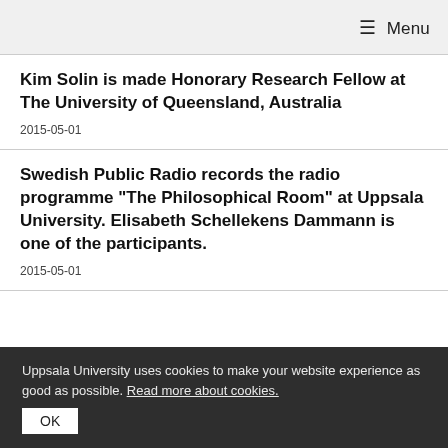☰ Menu
Kim Solin is made Honorary Research Fellow at The University of Queensland, Australia
2015-05-01
Swedish Public Radio records the radio programme "The Philosophical Room" at Uppsala University. Elisabeth Schellekens Dammann is one of the participants.
2015-05-01
Uppsala University uses cookies to make your website experience as good as possible. Read more about cookies.